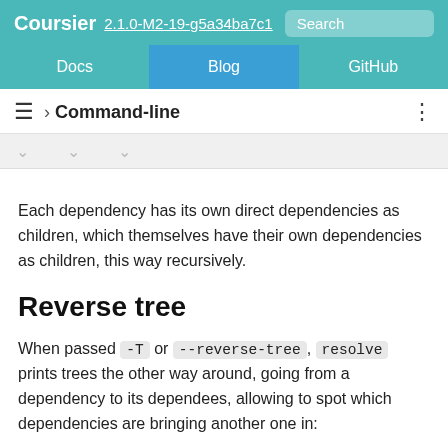Coursier 2.1.0-M2-19-g5a34ba7c1 Search
Docs | Blog | GitHub
› Command-line
Each dependency has its own direct dependencies as children, which themselves have their own dependencies as children, this way recursively.
Reverse tree
When passed -T or --reverse-tree, resolve prints trees the other way around, going from a dependency to its dependees, allowing to spot which dependencies are bringing another one in: